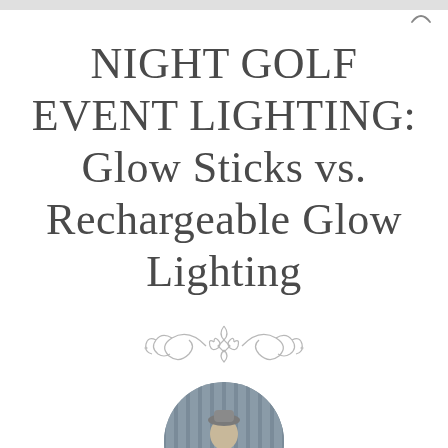NIGHT GOLF EVENT LIGHTING: Glow Sticks vs. Rechargeable Glow Lighting
[Figure (illustration): Decorative ornamental divider with scrollwork and floral motifs in light gray]
[Figure (photo): Circular portrait photo of a person, partially visible at bottom of page]